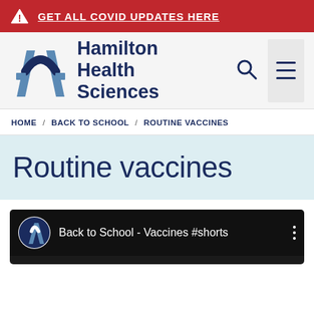GET ALL COVID UPDATES HERE
[Figure (logo): Hamilton Health Sciences logo with stylized H icon and wordmark]
HOME / BACK TO SCHOOL / ROUTINE VACCINES
Routine vaccines
[Figure (screenshot): YouTube video thumbnail showing 'Back to School - Vaccines #shorts' with Hamilton Health Sciences channel icon]